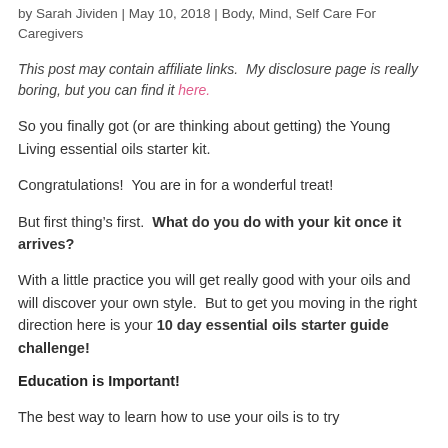by Sarah Jividen | May 10, 2018 | Body, Mind, Self Care For Caregivers
This post may contain affiliate links.  My disclosure page is really boring, but you can find it here.
So you finally got (or are thinking about getting) the Young Living essential oils starter kit.
Congratulations!  You are in for a wonderful treat!
But first thing’s first.  What do you do with your kit once it arrives?
With a little practice you will get really good with your oils and will discover your own style.  But to get you moving in the right direction here is your 10 day essential oils starter guide challenge!
Education is Important!
The best way to learn how to use your oils is to try